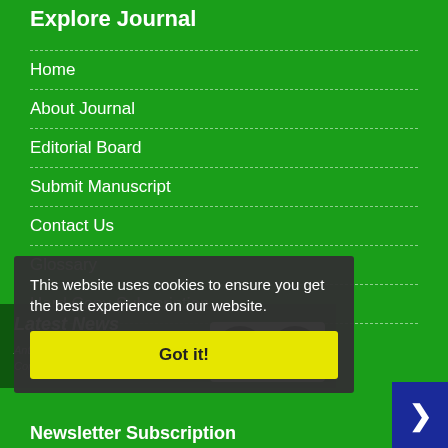Explore Journal
Home
About Journal
Editorial Board
Submit Manuscript
Contact Us
Glossary
Hard Copy Subscription
Sitemap
Latest News
This website uses cookies to ensure you get the best experience on our website.
Anthropogenic Pollution Journal  is licensed under a"Creative Commons Attribution 4.0 International (CC-BY 4.0)"
[Figure (logo): Creative Commons CC BY license badge]
Newsletter Subscription